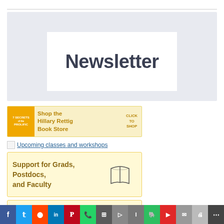[Figure (other): Newsletter banner with light gray background and white inner box containing the word 'Newsletter' in large dark bold text]
[Figure (other): Book store advertisement banner with yellow background, book cover image on left, 'Shop the Hillary Rettig Book Store' text, and 'CLICK TO SHOP' on right]
Upcoming classes and workshops
[Figure (other): Yellow banner with text 'Support for Grads, Postdocs, and Faculty' and an open book illustration on the right]
[Figure (other): Partial yellow banner at bottom, partially visible]
Social sharing bar with Facebook, Twitter, Reddit, LinkedIn, Pinterest, WhatsApp, and other sharing icons